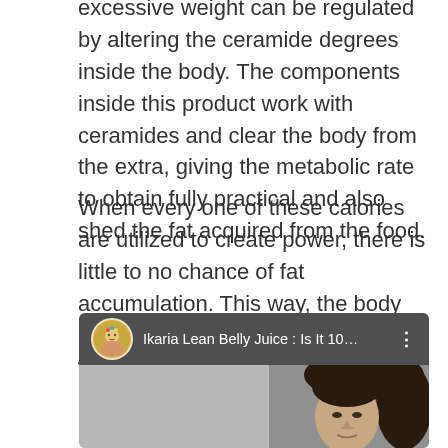excessive weight can be regulated by altering the ceramide degrees inside the body. The components inside this product work with ceramides and clear the body from the extra, giving the metabolic rate to obtain fully practical and also shed the fat acquired from the food.
When every one of these calories are utilized to create power, there is little to no chance of fat accumulation. This way, the body never gains weight, regardless of what you eat later.
[Figure (screenshot): YouTube video thumbnail showing 'Ikaria Lean Belly Juice : Is It 10...' with a small avatar circle icon on the left, three-dot menu on the right, and a partial image of a woman's face on the right side of the thumbnail.]